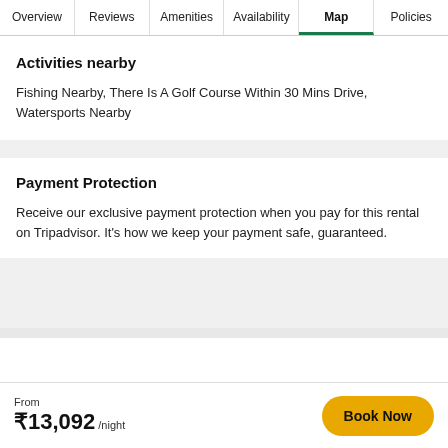Overview | Reviews | Amenities | Availability | Map | Policies
Activities nearby
Fishing Nearby, There Is A Golf Course Within 30 Mins Drive, Watersports Nearby
Payment Protection
Receive our exclusive payment protection when you pay for this rental on Tripadvisor. It's how we keep your payment safe, guaranteed.
From ₹13,092 /night
Book Now